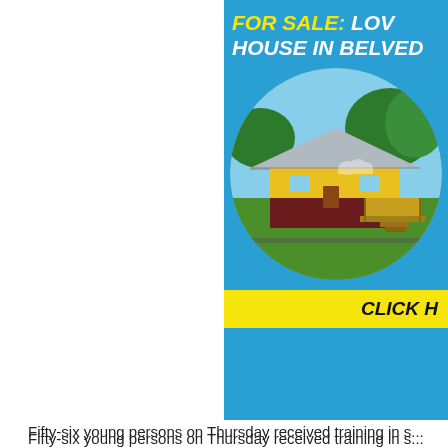[Figure (illustration): Real estate advertisement banner with blue background, yellow bold italic text reading 'FOR SALE: LOV...' and 'HOUSE IN BELVED...' with a circular photo of a yellow and white house with metal roof surrounded by green trees, and a yellow bar at bottom with 'CLICK H...']
Fifty-six young persons on Thursday received training in s...
The training came in the form of a workshop organized by... Development (CED).
It provided young entrepreneurs with theoretical and prac... ...